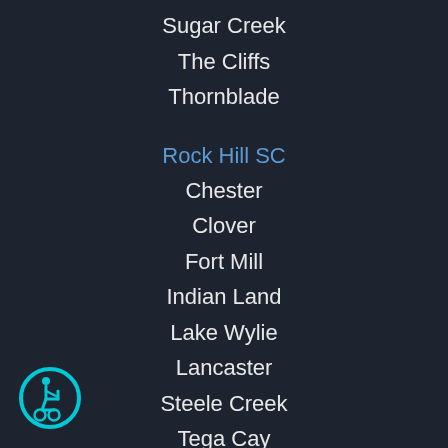Sugar Creek
The Cliffs
Thornblade
Rock Hill SC
Chester
Clover
Fort Mill
Indian Land
Lake Wylie
Lancaster
Steele Creek
Tega Cay
Waxhaw
York
Charlotte NC
Ballantyne
[Figure (illustration): Accessibility icon — person in wheelchair inside a cyan circle outline]